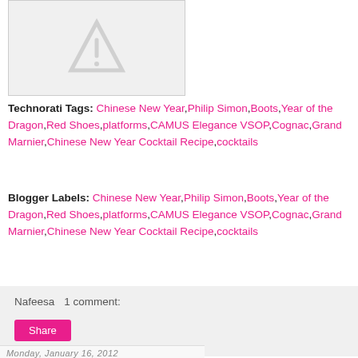[Figure (illustration): Gray placeholder image with a warning triangle icon (exclamation mark in triangle)]
Technorati Tags: Chinese New Year,Philip Simon,Boots,Year of the Dragon,Red Shoes,platforms,CAMUS Elegance VSOP,Cognac,Grand Marnier,Chinese New Year Cocktail Recipe,cocktails
Blogger Labels: Chinese New Year,Philip Simon,Boots,Year of the Dragon,Red Shoes,platforms,CAMUS Elegance VSOP,Cognac,Grand Marnier,Chinese New Year Cocktail Recipe,cocktails
Nafeesa   1 comment:
Share
Monday, January 16, 2012